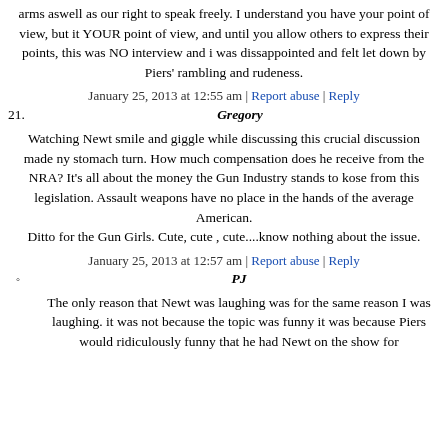arms aswell as our right to speak freely. I understand you have your point of view, but it YOUR point of view, and until you allow others to express their points, this was NO interview and i was dissappointed and felt let down by Piers' rambling and rudeness.
January 25, 2013 at 12:55 am | Report abuse | Reply
21.	Gregory
Watching Newt smile and giggle while discussing this crucial discussion made ny stomach turn. How much compensation does he receive from the NRA? It's all about the money the Gun Industry stands to kose from this legislation. Assault weapons have no place in the hands of the average American.
Ditto for the Gun Girls. Cute, cute , cute....know nothing about the issue.
January 25, 2013 at 12:57 am | Report abuse | Reply
◦	PJ
The only reason that Newt was laughing was for the same reason I was laughing. it was not because the topic was funny it was because Piers would ridiculously funny that he had Newt on the show for